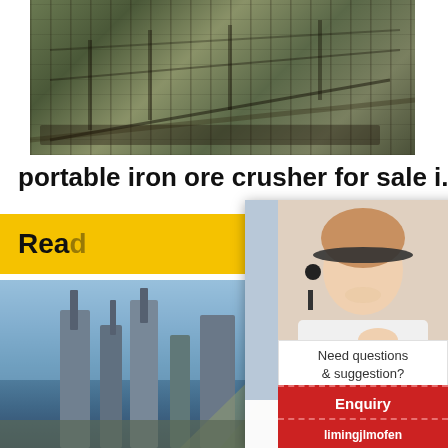[Figure (photo): Industrial machinery/crusher equipment on a worksite, metal frame structure]
portable iron ore crusher for sale i...
[Figure (photo): Live chat popup overlay with workers in hard hats and a customer service agent with headset]
[Figure (photo): Industrial processing plant with large cylindrical towers against blue sky]
[Figure (photo): Customer service agent (woman with headset) on right sidebar]
Need questions & suggestion?
Chat Now
Enquiry
limingjlmofen